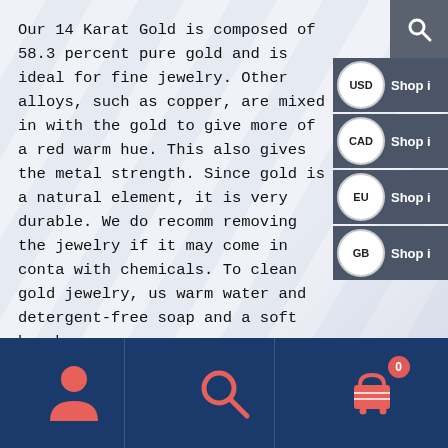Our 14 Karat Gold is composed of 58.3 percent pure gold and is ideal for fine jewelry. Other alloys, such as copper, are mixed in with the gold to give more of a red warm hue. This also gives the metal strength. Since gold is a natural element, it is very durable. We do recommend removing the jewelry if it may come in contact with chemicals. To clean gold jewelry, use warm water and detergent-free soap and a soft brush.
Lifetime Guarantee
[Figure (screenshot): Right side overlay panel showing a search icon button and four currency shop buttons (USD, CAD, EU, GB) on dark gray background]
[Figure (infographic): Bottom navigation bar with dark blue background showing three icons: person/user icon, search/magnifying glass icon, and shopping cart icon with badge showing 0]